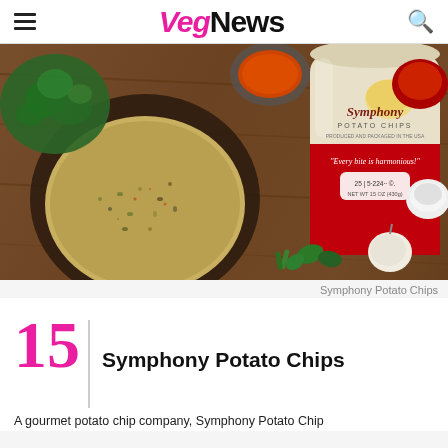VegNews
[Figure (photo): A bowl of spiced grain mixture and a bag of Symphony Potato Chips surrounded by herbs, spices, and garlic on a wooden surface.]
Symphony Potato Chips
15 / Symphony Potato Chips
A gourmet potato chip company, Symphony Potato Chips